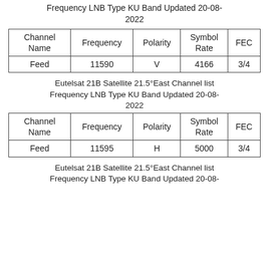Frequency LNB Type KU Band Updated 20-08-2022
| Channel Name | Frequency | Polarity | Symbol Rate | FEC |
| --- | --- | --- | --- | --- |
| Feed | 11590 | V | 4166 | 3/4 |
Eutelsat 21B Satellite 21.5°East Channel list Frequency LNB Type KU Band Updated 20-08-2022
| Channel Name | Frequency | Polarity | Symbol Rate | FEC |
| --- | --- | --- | --- | --- |
| Feed | 11595 | H | 5000 | 3/4 |
Eutelsat 21B Satellite 21.5°East Channel list Frequency LNB Type KU Band Updated 20-08-